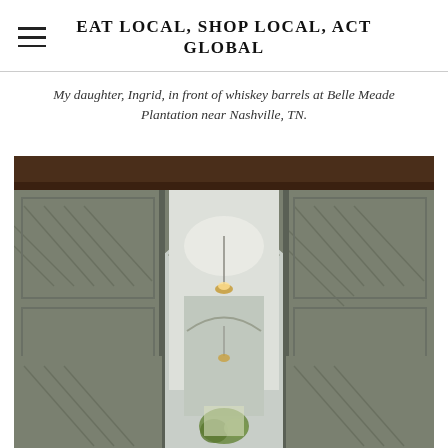EAT LOCAL, SHOP LOCAL, ACT GLOBAL
My daughter, Ingrid, in front of whiskey barrels at Belle Meade Plantation near Nashville, TN.
[Figure (photo): Interior architectural photo showing large open wooden barn/stable doors painted gray-green with diagonal plank panels, revealing an arched corridor with white ceiling, hanging light fixture, and a glimpse of greenery at the far end. The perspective is straight-on through the double doors.]